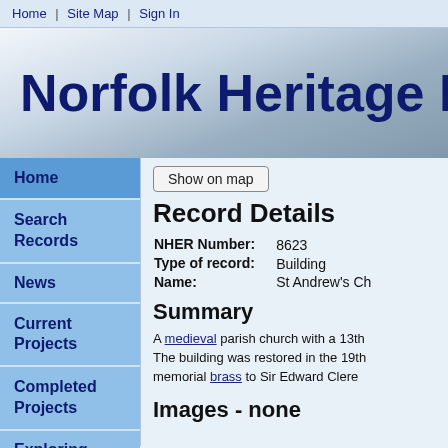Home | Site Map | Sign In
Norfolk Heritage Ex
Home
Search Records
News
Current Projects
Completed Projects
Exploring More
Record Details
| Field | Value |
| --- | --- |
| NHER Number: | 8623 |
| Type of record: | Building |
| Name: | St Andrew's Ch |
Summary
A medieval parish church with a 13th The building was restored in the 19th memorial brass to Sir Edward Clere
Images - none